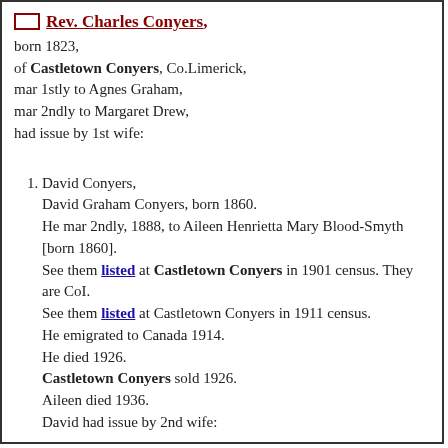Rev. Charles Conyers,
born 1823,
of Castletown Conyers, Co.Limerick,
mar 1stly to Agnes Graham,
mar 2ndly to Margaret Drew,
had issue by 1st wife:
David Conyers,
David Graham Conyers, born 1860.
He mar 2ndly, 1888, to Aileen Henrietta Mary Blood-Smyth [born 1860].
See them listed at Castletown Conyers in 1901 census. They are CoI.
See them listed at Castletown Conyers in 1911 census.
He emigrated to Canada 1914.
He died 1926.
Castletown Conyers sold 1926.
Aileen died 1936.
David had issue by 2nd wife:
Kathleen Conyers,
Kathleen Dorothy Conyers, born 21 Apr 1890 (NOT 1889).